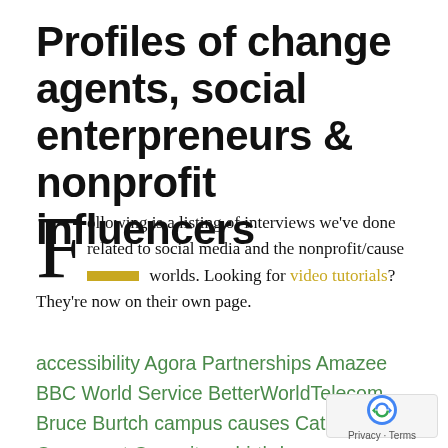Profiles of change agents, social enterpreneurs & nonprofit influencers
Following is a listing of interviews we've done related to social media and the nonprofit/cause worlds. Looking for video tutorials? They're now on their own page.
accessibility Agora Partnerships Amazee BBC World Service BetterWorldTelecom Bruce Burtch campus causes Catchafire Causecast Causeitsmybirthday cause marketing CauseVoice CauseWorld Chaordix.com Gavin Gravflex